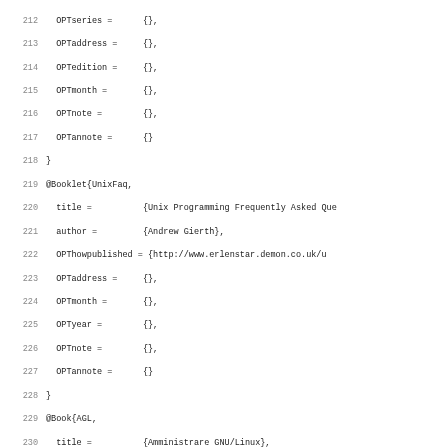Source code listing showing BibTeX entries, lines 212–243